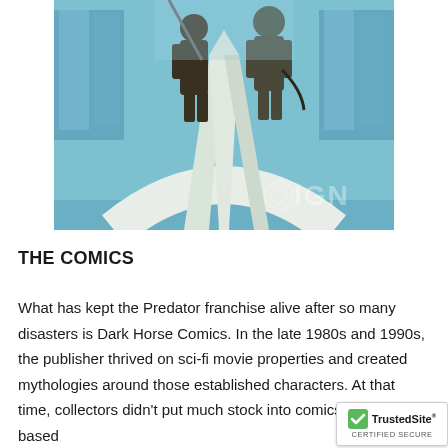[Figure (photo): Photo of armored/alien warrior statues standing on a large sculptural arrow or architectural structure, with a blue-tinted modern building in the background. IGN watermark visible in lower right.]
THE COMICS
What has kept the Predator franchise alive after so many disasters is Dark Horse Comics. In the late 1980s and 1990s, the publisher thrived on sci-fi movie properties and created mythologies around those established characters. At that time, collectors didn't put much stock into comics with movie-based